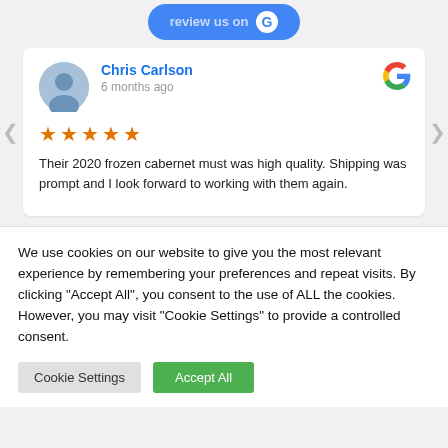[Figure (screenshot): Partial 'Review us on' Google button at top, partially cropped]
Chris Carlson
6 months ago
★★★★★
Their 2020 frozen cabernet must was high quality. Shipping was prompt and I look forward to working with them again.
We use cookies on our website to give you the most relevant experience by remembering your preferences and repeat visits. By clicking "Accept All", you consent to the use of ALL the cookies. However, you may visit "Cookie Settings" to provide a controlled consent.
Cookie Settings
Accept All